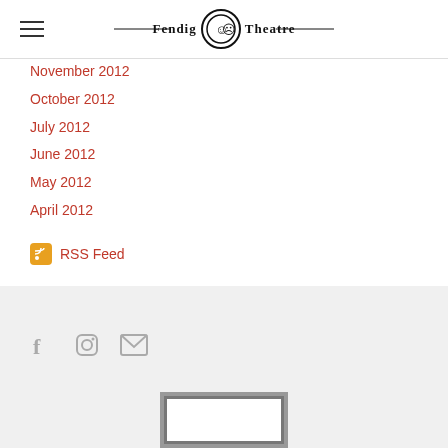Fendig Theatre
November 2012
October 2012
July 2012
June 2012
May 2012
April 2012
RSS Feed
Social icons: Facebook, Instagram, Email